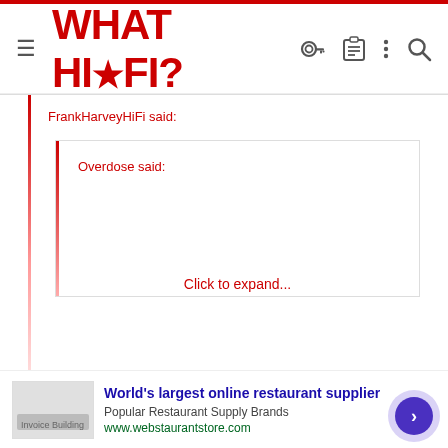WHAT HI•FI?
FrankHarveyHiFi said:
Overdose said:
Click to expand...
Simplicity?! :O
[Figure (screenshot): Advertisement banner: World's largest online restaurant supplier, Popular Restaurant Supply Brands, www.webstaurantstore.com]
World's largest online restaurant supplier
Popular Restaurant Supply Brands
www.webstaurantstore.com